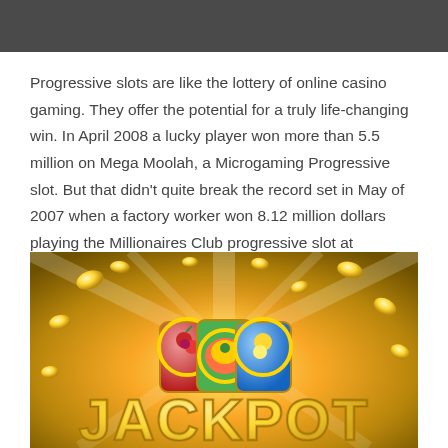Progressive slots are like the lottery of online casino gaming. They offer the potential for a truly life-changing win. In April 2008 a lucky player won more than 5.5 million on Mega Moolah, a Microgaming Progressive slot. But that didn't quite break the record set in May of 2007 when a factory worker won 8.12 million dollars playing the Millionaires Club progressive slot at Intercasino for his first time.
[Figure (illustration): Jackpot casino image with golden coins flying, slot machine reels in the background, and large golden 'JACKPOT' text in the foreground against a bright golden light burst.]